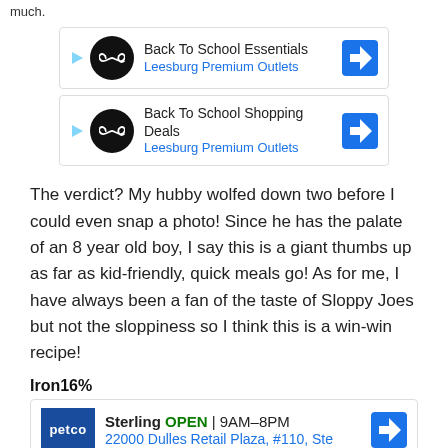much.
[Figure (screenshot): Ad banner: Back To School Essentials, Leesburg Premium Outlets with infinity logo and navigation arrow icon]
[Figure (screenshot): Ad banner: Back To School Shopping Deals, Leesburg Premium Outlets with infinity logo and navigation arrow icon]
The verdict? My hubby wolfed down two before I could even snap a photo! Since he has the palate of an 8 year old boy, I say this is a giant thumbs up as far as kid-friendly, quick meals go! As for me, I have always been a fan of the taste of Sloppy Joes but not the sloppiness so I think this is a win-win recipe!
Iron16%
[Figure (screenshot): Petco ad: Sterling OPEN 9AM-8PM, 22000 Dulles Retail Plaza, #110, Ste with navigation arrow icon]